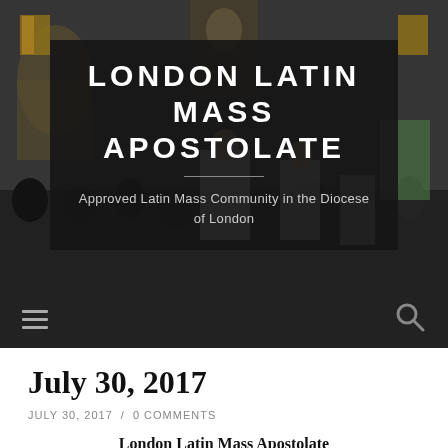[Figure (photo): Church interior photo showing congregation and priest at altar with stained glass windows, overlaid with dark semi-transparent box containing site title and tagline]
LONDON LATIN MASS APOSTOLATE
Approved Latin Mass Community in the Diocese of London
[Figure (screenshot): Dark navigation bar with hamburger menu icon on left and search icon on right]
July 30, 2017
JULY 30, 2017 / 0 COMMENTS
London Latin Mass Apostolate
Holy Apostle Parish